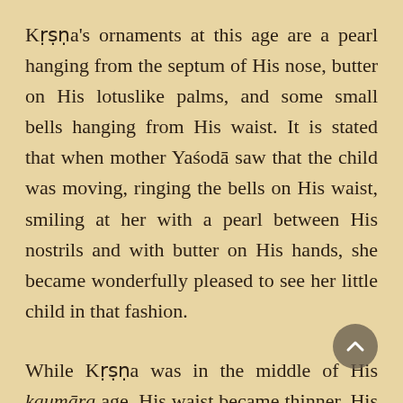Kṛṣṇa's ornaments at this age are a pearl hanging from the septum of His nose, butter on His lotuslike palms, and some small bells hanging from His waist. It is stated that when mother Yaśodā saw that the child was moving, ringing the bells on His waist, smiling at her with a pearl between His nostrils and with butter on His hands, she became wonderfully pleased to see her little child in that fashion.
While Kṛṣṇa was in the middle of His kaumāra age, His waist became thinner, His chest became broader, and His head was